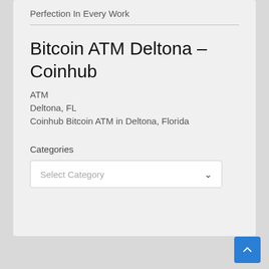Perfection In Every Work
Bitcoin ATM Deltona – Coinhub
ATM
Deltona, FL
Coinhub Bitcoin ATM in Deltona, Florida
Categories
Select Category